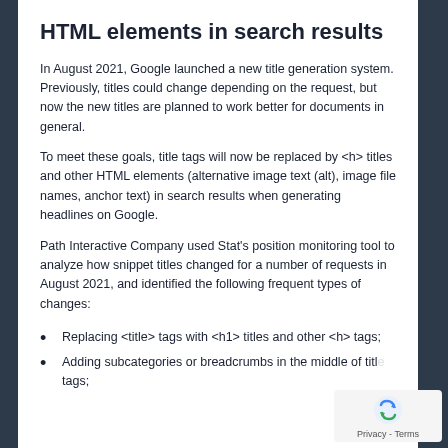HTML elements in search results
In August 2021, Google launched a new title generation system. Previously, titles could change depending on the request, but now the new titles are planned to work better for documents in general.
To meet these goals, title tags will now be replaced by <h> titles and other HTML elements (alternative image text (alt), image file names, anchor text) in search results when generating headlines on Google.
Path Interactive Company used Stat's position monitoring tool to analyze how snippet titles changed for a number of requests in August 2021, and identified the following frequent types of changes:
Replacing <title> tags with <h1> titles and other <h> tags;
Adding subcategories or breadcrumbs in the middle of title tags;